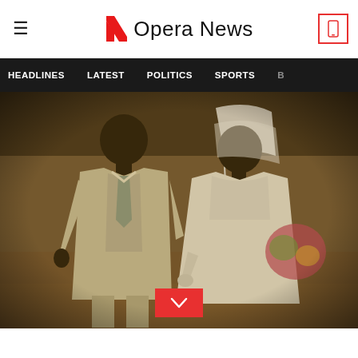Opera News
[Figure (screenshot): Opera News website navigation bar with HEADLINES, LATEST, POLITICS, SPORTS tabs on dark background]
[Figure (photo): Vintage sepia-toned wedding photo of a couple — groom in a light suit and bride in white dress with veil holding flowers — standing on brick steps]